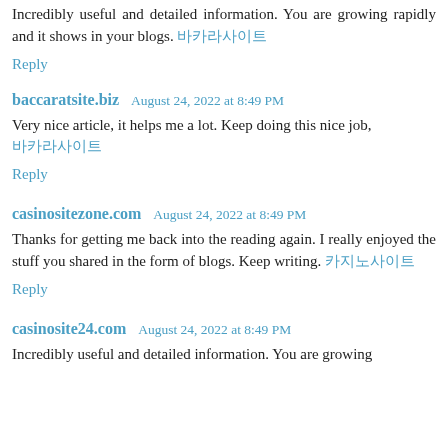Incredibly useful and detailed information. You are growing rapidly and it shows in your blogs. 바카라사이트
Reply
baccaratsite.biz  August 24, 2022 at 8:49 PM
Very nice article, it helps me a lot. Keep doing this nice job, 바카라사이트
Reply
casinositezone.com  August 24, 2022 at 8:49 PM
Thanks for getting me back into the reading again. I really enjoyed the stuff you shared in the form of blogs. Keep writing. 카지노사이트
Reply
casinosite24.com  August 24, 2022 at 8:49 PM
Incredibly useful and detailed information. You are growing